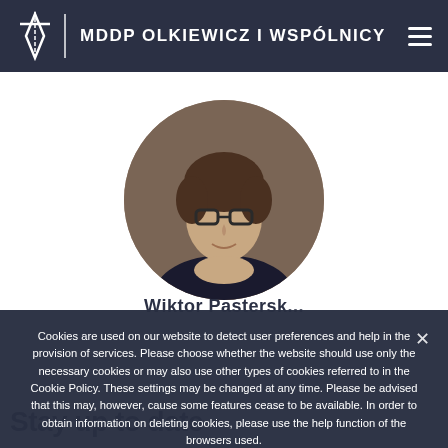MDDP OLKIEWICZ I WSPÓLNICY
[Figure (photo): Circular profile photo of a young man with dark hair, glasses, wearing a dark suit, resting his chin on his hands, smiling.]
Wiktor Pasterski (partially visible)
Cookies are used on our website to detect user preferences and help in the provision of services. Please choose whether the website should use only the necessary cookies or may also use other types of cookies referred to in the Cookie Policy. These settings may be changed at any time. Please be advised that this may, however, cause some features cease to be available. In order to obtain information on deleting cookies, please use the help function of the browsers used.
HIDE
MORE INFO
Stay up to date (partially visible)